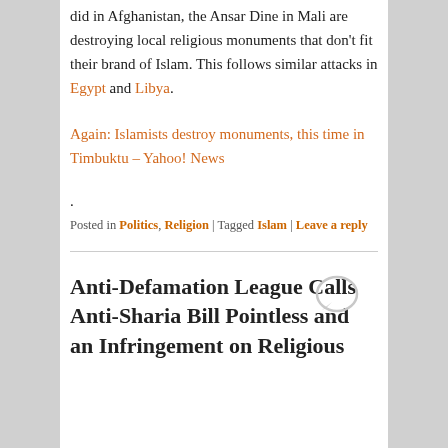did in Afghanistan, the Ansar Dine in Mali are destroying local religious monuments that don't fit their brand of Islam. This follows similar attacks in Egypt and Libya.
Again: Islamists destroy monuments, this time in Timbuktu – Yahoo! News.
Posted in Politics, Religion | Tagged Islam | Leave a reply
Anti-Defamation League Calls Anti-Sharia Bill Pointless and an Infringement on Religious